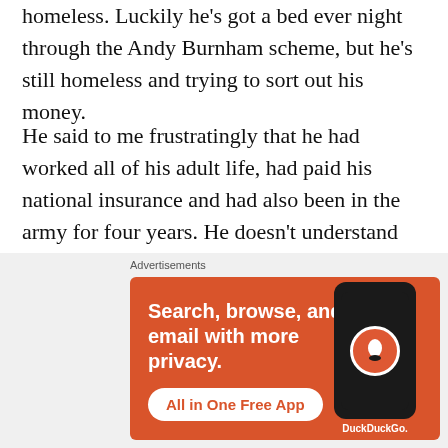homeless. Luckily he's got a bed ever night through the Andy Burnham scheme, but he's still homeless and trying to sort out his money.
He said to me frustratingly that he had worked all of his adult life, had paid his national insurance and had also been in the army for four years. He doesn't understand why the DWP wont help him when he's paid into the system.
Of course he's correct, they should be helping
[Figure (infographic): DuckDuckGo advertisement banner with orange background showing a smartphone. Text reads: 'Search, browse, and email with more privacy. All in One Free App' with DuckDuckGo logo.]